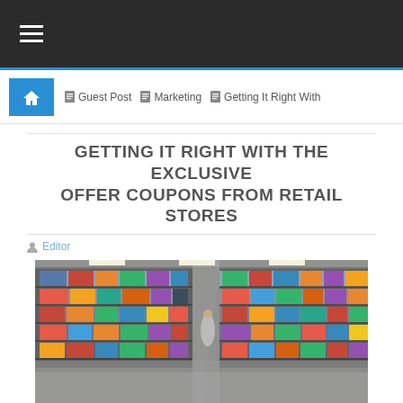Navigation bar with hamburger menu
Home | Guest Post | Marketing | Getting It Right With
GETTING IT RIGHT WITH THE EXCLUSIVE OFFER COUPONS FROM RETAIL STORES
Editor
[Figure (photo): Interior of a retail grocery store showing long aisles with fully stocked shelves of packaged goods, bright lighting and reflective floor.]